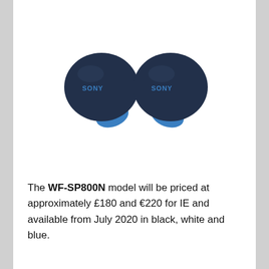[Figure (illustration): Two Sony WF-SP800N true wireless earbuds in blue/navy color, side by side on white background, each showing the SONY logo on the earbud face.]
The WF-SP800N model will be priced at approximately £180 and €220 for IE and available from July 2020 in black, white and blue.